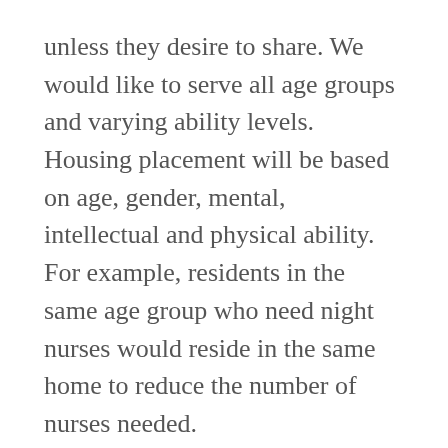unless they desire to share. We would like to serve all age groups and varying ability levels. Housing placement will be based on age, gender, mental, intellectual and physical ability. For example, residents in the same age group who need night nurses would reside in the same home to reduce the number of nurses needed.
Residents will be assisted with activities of daily living (ADL) as needed by trained, caring staff. They will participate with household decisions and tasks to the best of their ability. Some staff will live at Sunrise Mill...